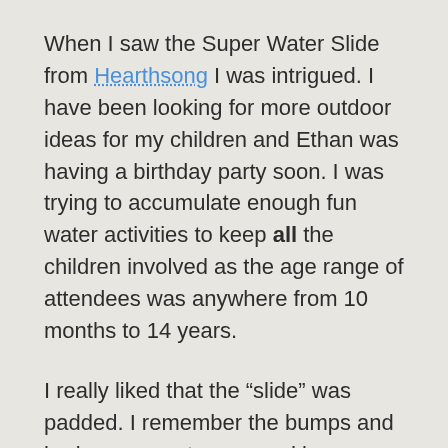When I saw the Super Water Slide from Hearthsong I was intrigued. I have been looking for more outdoor ideas for my children and Ethan was having a birthday party soon. I was trying to accumulate enough fun water activities to keep all the children involved as the age range of attendees was anywhere from 10 months to 14 years.
I really liked that the “slide” was padded. I remember the bumps and bruises on my tummy and legs as a kid. I kept sliding, but they hurt like heck later. I also liked the pool at the end. What’s more fun than a big splash of water in the face, right? lol
So we set it up, greeted our guests and soon made our way to the backyard. The babies were set up in a wading pool, there was a water table for the pirate enthusiasts and a bigger kiddie pool for the kids that